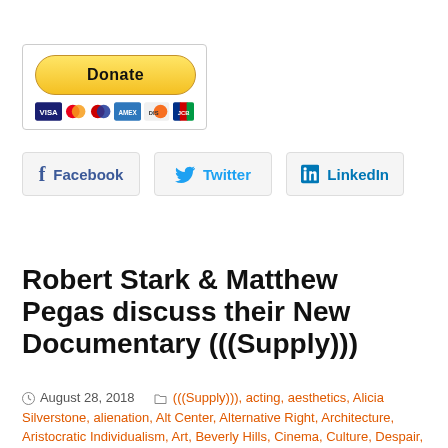[Figure (other): PayPal Donate button with credit card icons (Visa, Mastercard, Maestro, American Express, Discover, JCB)]
[Figure (other): Social media share buttons: Facebook, Twitter, LinkedIn]
Robert Stark & Matthew Pegas discuss their New Documentary (((Supply)))
August 28, 2018  (((Supply))), acting, aesthetics, Alicia Silverstone, alienation, Alt Center, Alternative Right, Architecture, Aristocratic Individualism, Art, Beverly Hills, Cinema, Culture, Despair, documentary, dreams, Erotized Rage, Film, Hollywood, Incels, Los Angeles, Luke Ford, Matthew Pegas, Media, Narcissism